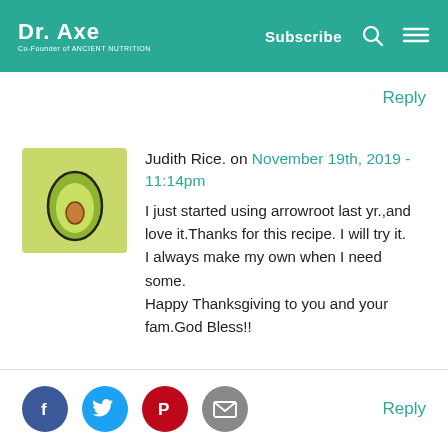Dr. Axe Co-Founder of ANCIENT NUTRITION | Subscribe
Reply
Judith Rice. on November 19th, 2019 - 11:14pm

I just started using arrowroot last yr.,and love it.Thanks for this recipe. I will try it.
I always make my own when I need some.
Happy Thanksgiving to you and your fam.God Bless!!
Reply